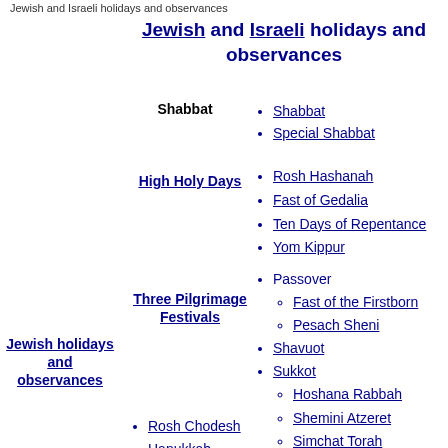Jewish and Israeli holidays and observances
Jewish and Israeli holidays and observances
Shabbat
Special Shabbat
High Holy Days
Rosh Hashanah
Fast of Gedalia
Ten Days of Repentance
Yom Kippur
Three Pilgrimage Festivals
Passover
Fast of the Firstborn
Pesach Sheni
Shavuot
Sukkot
Hoshana Rabbah
Shemini Atzeret
Simchat Torah
Yom tov sheni shel galuyot
Chol HaMoed
Isru chag
Jewish holidays and observances
Rosh Chodesh
Hanukkah